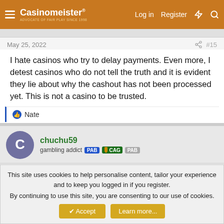Casinomeister — Log in  Register
May 25, 2022  #15
I hate casinos who try to delay payments. Even more, I detest casinos who do not tell the truth and it is evident they lie about why the cashout has not been processed yet. This is not a casino to be trusted.
👍 Nate
chuchu59
gambling addict  PAB  📌CAG  PAB
May 26, 2022  #16
This site uses cookies to help personalise content, tailor your experience and to keep you logged in if you register.
By continuing to use this site, you are consenting to our use of cookies.